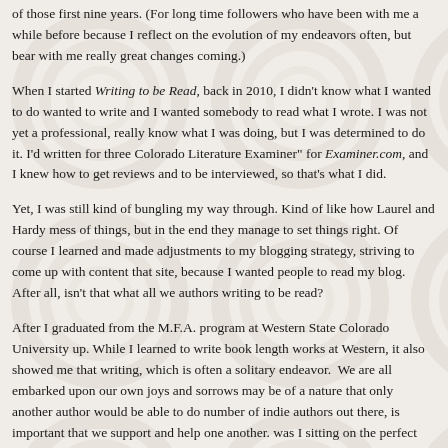of those first nine years. (For long time followers who have been with me a while before because I reflect on the evolution of my endeavors often, but bear with me really great changes coming.)
When I started Writing to be Read, back in 2010, I didn't know what I wanted to do, wanted to write and I wanted somebody to read what I wrote. I was not yet a professional, really know what I was doing, but I was determined to do it. I'd written for three Colorado Literature Examiner" for Examiner.com, and I knew how to get reviews and to be interviewed, so that's what I did.
Yet, I was still kind of bungling my way through. Kind of like how Laurel and Hardy mess of things, but in the end they manage to set things right. Of course I learned and made adjustments to my blogging strategy, striving to come up with content that site, because I wanted people to read my blog. After all, isn't that what all we authors writing to be read?
After I graduated from the M.F.A. program at Western State Colorado University up. While I learned to write book length works at Western, it also showed me that writing, which is often a solitary endeavor. We are all embarked upon our own joys and sorrows may be of a nature that only another author would be able to comprehend number of indie authors out there, is important that we support and help one another. was I sitting on the perfect platform to promote my own books and writing, but